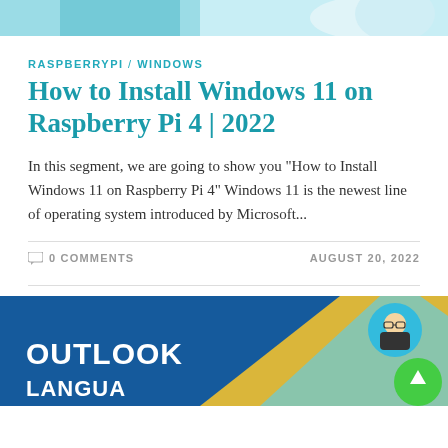[Figure (illustration): Top banner image with teal/cyan gradient background, partially visible]
RASPBERRYPI / WINDOWS
How to Install Windows 11 on Raspberry Pi 4 | 2022
In this segment, we are going to show you "How to Install Windows 11 on Raspberry Pi 4" Windows 11 is the newest line of operating system introduced by Microsoft...
0 COMMENTS    AUGUST 20, 2022
[Figure (illustration): Bottom banner image with dark blue background, yellow and light blue diagonal shapes, OUTLOOK LANGUAGE text in white bold, avatar circle top right, green scroll-to-top button]